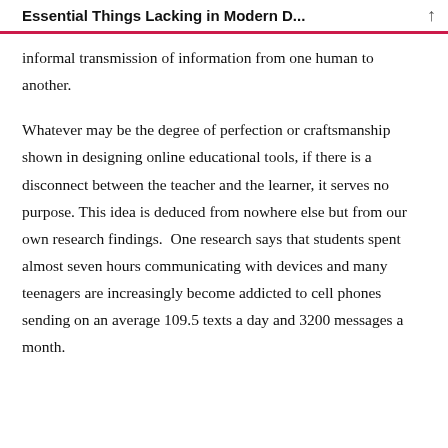Essential Things Lacking in Modern D...
informal transmission of information from one human to another.
Whatever may be the degree of perfection or craftsmanship shown in designing online educational tools, if there is a disconnect between the teacher and the learner, it serves no purpose. This idea is deduced from nowhere else but from our own research findings.  One research says that students spent almost seven hours communicating with devices and many teenagers are increasingly become addicted to cell phones sending on an average 109.5 texts a day and 3200 messages a month.